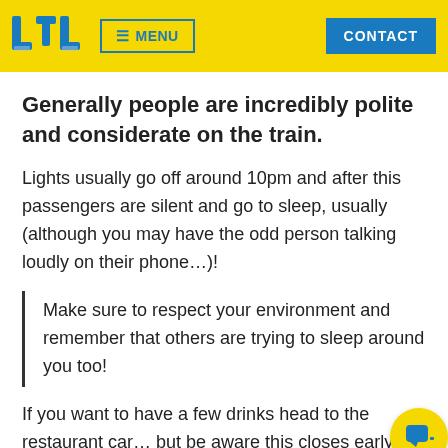LTL | MENU | CONTACT
Generally people are incredibly polite and considerate on the train.
Lights usually go off around 10pm and after this passengers are silent and go to sleep, usually (although you may have the odd person talking loudly on their phone…)!
Make sure to respect your environment and remember that others are trying to sleep around you too!
If you want to have a few drinks head to the restaurant car… but be aware this closes early ish